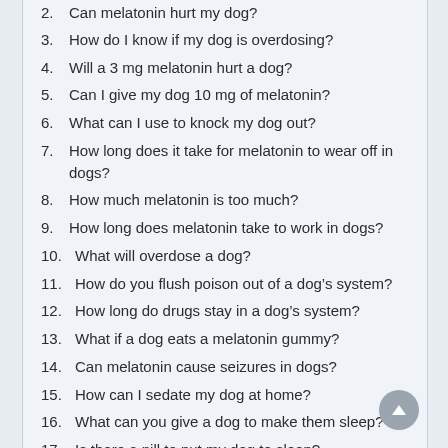2. Can melatonin hurt my dog?
3. How do I know if my dog is overdosing?
4. Will a 3 mg melatonin hurt a dog?
5. Can I give my dog 10 mg of melatonin?
6. What can I use to knock my dog out?
7. How long does it take for melatonin to wear off in dogs?
8. How much melatonin is too much?
9. How long does melatonin take to work in dogs?
10. What will overdose a dog?
11. How do you flush poison out of a dog’s system?
12. How long do drugs stay in a dog’s system?
13. What if a dog eats a melatonin gummy?
14. Can melatonin cause seizures in dogs?
15. How can I sedate my dog at home?
16. What can you give a dog to make them sleep?
17. Is there a pill to put my dog to sleep?
18. What can I buy over the counter to sedate my dog?
19. Can you give your dog a sleeping pill?